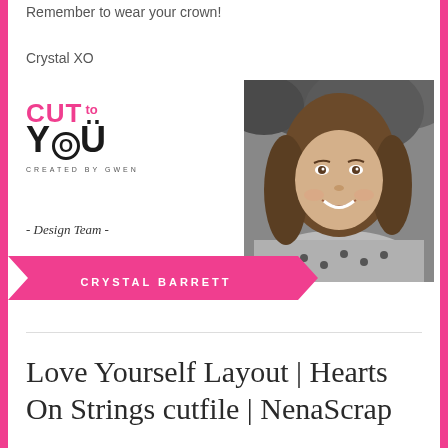Remember to wear your crown!
Crystal XO
[Figure (logo): Cut To You - Created by Gwen logo with pink CUT and TO text, black YOU text with circular O]
- Design Team -
[Figure (photo): Black and white portrait photo of Crystal Barrett, a woman with long hair smiling outdoors]
CRYSTAL BARRETT
Love Yourself Layout | Hearts On Strings cutfile | NenaScrap